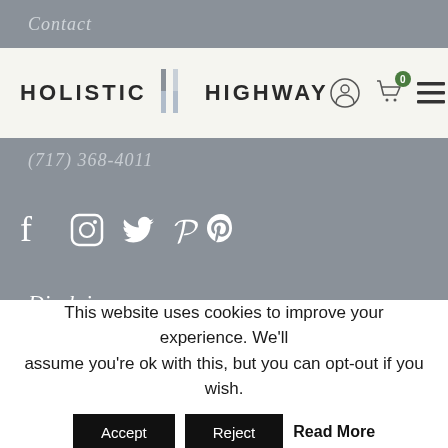Contact
[Figure (logo): Holistic Highway logo with two vertical bars between the words, plus navigation icons (user, cart with 0 badge, hamburger menu)]
(717) 368-4011
[Figure (illustration): Social media icons: Facebook, Instagram, Twitter, Pinterest]
Disclaimer
The sole purpose of all the website content is to educate and provide information about Integrative Health, Genetics and Ayurveda. This information is not intended for use in the diagnosis, treatment, cure. or prevention of any disease.
This website uses cookies to improve your experience. We'll assume you're ok with this, but you can opt-out if you wish.
Accept  Reject  Read More